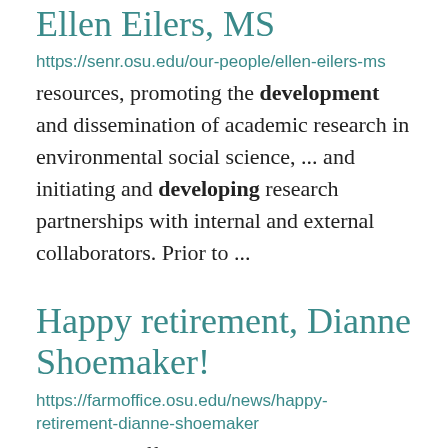Ellen Eilers, MS
https://senr.osu.edu/our-people/ellen-eilers-ms
resources, promoting the development and dissemination of academic research in environmental social science, ... and initiating and developing research partnerships with internal and external collaborators. Prior to ...
Happy retirement, Dianne Shoemaker!
https://farmoffice.osu.edu/news/happy-retirement-dianne-shoemaker
The Farm Office team is minus a key member, Dianne Shoemaker, field